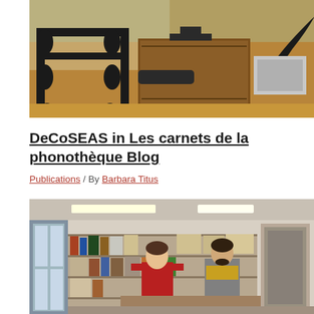[Figure (photo): Vintage phonograph and music box equipment on a wooden table, black cast iron machinery in foreground, gramophone horn visible on right, window in background]
DeCoSEAS in Les carnets de la phonothèque Blog
Publications / By Barbara Titus
[Figure (photo): Two people (a woman in red top and a man in grey and yellow) standing in an archive room filled with bookshelves, boxes, and various collection items under fluorescent lighting]